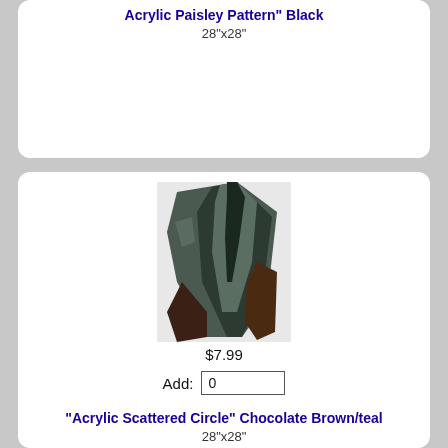Acrylic Paisley Pattern" Black
28"x28"
[Figure (photo): Product photo of a dark brown/teal acrylic scattered circle scarf, folded and displayed]
$7.99
Add: 0
"Acrylic Scattered Circle" Chocolate Brown/teal
28"x28"